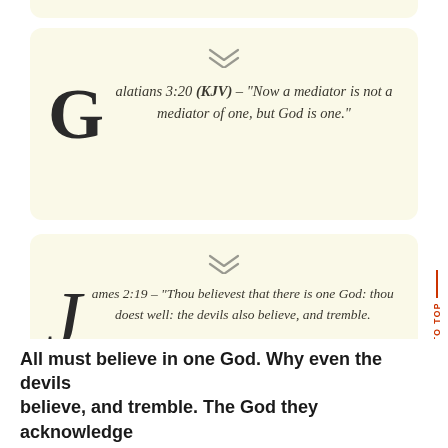Galatians 3:20 (KJV) – “Now a mediator is not a mediator of one, but God is one.”
James 2:19 – “Thou believest that there is one God: thou doest well: the devils also believe, and tremble.
All must believe in one God. Why even the devils believe, and tremble. The God they acknowledge